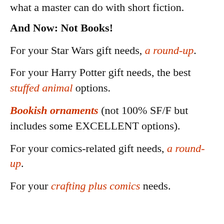what a master can do with short fiction.
And Now: Not Books!
For your Star Wars gift needs, a round-up.
For your Harry Potter gift needs, the best stuffed animal options.
Bookish ornaments (not 100% SF/F but includes some EXCELLENT options).
For your comics-related gift needs, a round-up.
For your crafting plus comics needs.